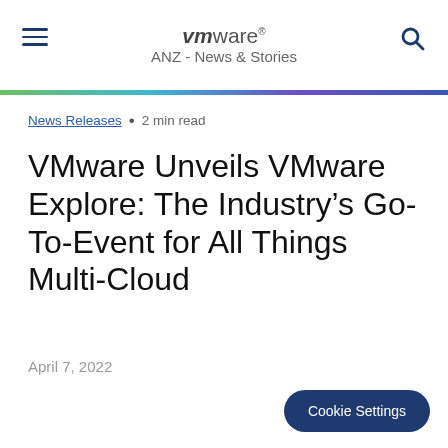vmware ANZ - News & Stories
News Releases • 2 min read
VMware Unveils VMware Explore: The Industry's Go-To-Event for All Things Multi-Cloud
April 7, 2022
Cookie Settings